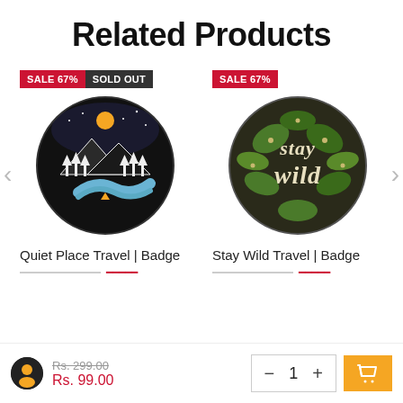Related Products
[Figure (photo): Round badge/pin showing mountain landscape with river, forest, and tent under night sky with moon]
SALE 67% SOLD OUT
[Figure (photo): Round badge/pin with 'stay wild' text in cursive surrounded by green leaves on dark background]
SALE 67%
Quiet Place Travel | Badge
Stay Wild Travel | Badge
Rs. 299.00 Rs. 99.00